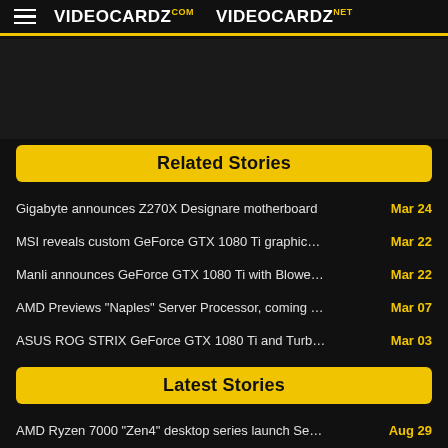VIDEOCARDZ.COM  VIDEOCARDZ.NET
[Figure (other): Dark banner/advertisement area]
Related Stories
Gigabyte announces Z270X Designare motherboard   Mar 24
MSI reveals custom GeForce GTX 1080 Ti graphics car...   Mar 22
Manli announces GeForce GTX 1080 Ti with Blower Fan   Mar 22
AMD Previews "Naples" Server Processor, coming Q2 2...   Mar 07
ASUS ROG STRIX GeForce GTX 1080 Ti and Turbo avail...   Mar 03
Latest Stories
AMD Ryzen 7000 "Zen4" desktop series launch Septe...   Aug 29
Watch AMD Ryzen 7000 Zen4 desktop series announce...   Aug 29
AMD Ryzen 7000's CCD reportedly features 6.57 billion...   Aug 29
(PR) EK announces Quantum Velocity² AM5 water block ...   Aug 29